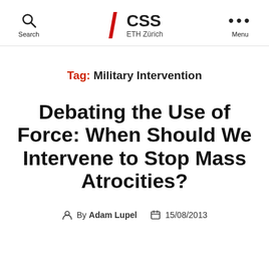Search | CSS ETH Zürich | Menu
Tag: Military Intervention
Debating the Use of Force: When Should We Intervene to Stop Mass Atrocities?
By Adam Lupel  15/08/2013